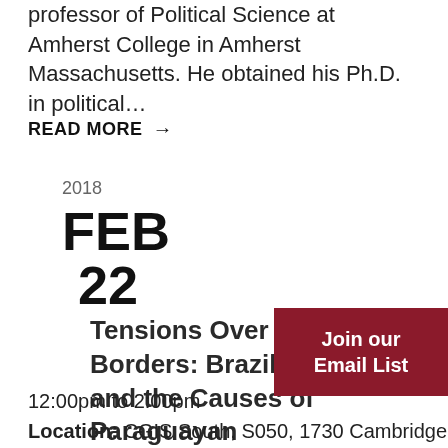professor of Political Science at Amherst College in Amherst Massachusetts. He obtained his Ph.D. in political…
READ MORE →
2018
FEB
22
Tensions Over the Borders: Brazilian Slavery and the Causes of Paraguayan
12:00pm to 2:00pm
Location: CGIS South, S050, 1730 Cambridge
Join our Email List